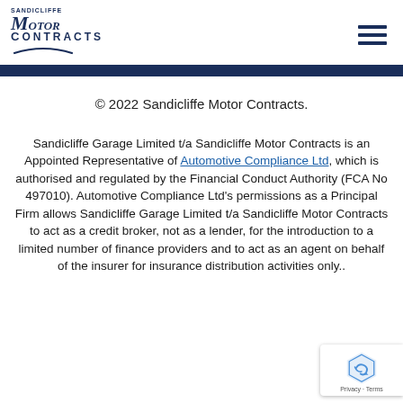Sandicliffe Motor Contracts — logo and navigation
© 2022 Sandicliffe Motor Contracts.
Sandicliffe Garage Limited t/a Sandicliffe Motor Contracts is an Appointed Representative of Automotive Compliance Ltd, which is authorised and regulated by the Financial Conduct Authority (FCA No 497010). Automotive Compliance Ltd's permissions as a Principal Firm allows Sandicliffe Garage Limited t/a Sandicliffe Motor Contracts to act as a credit broker, not as a lender, for the introduction to a limited number of finance providers and to act as an agent on behalf of the insurer for insurance distribution activities only..